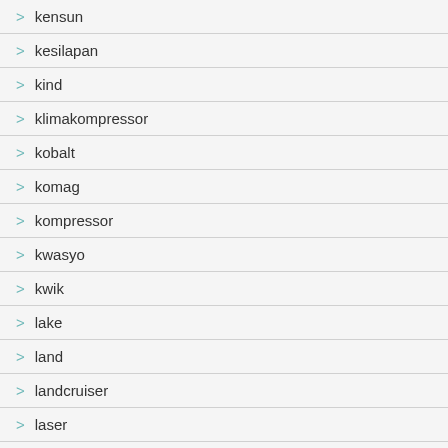> kensun
> kesilapan
> kind
> klimakompressor
> kobalt
> komag
> kompressor
> kwasyo
> kwik
> lake
> land
> landcruiser
> laser